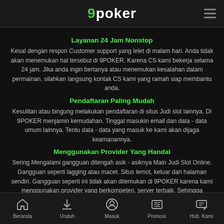9poker
Layanan 24 Jam Nonstop
Kesal dengan respon Customer support yang lelet di malam hari. Anda tidak akan menemukan hal tersebut di 9POKER. Karena CS kami bekerja selama 24 jam. Jika anda ingin bertanya atau menemukan kesalahan dalam permainan, silahkan langsung kontak CS kami yang ramah siap membantu anda.
Pendaftaran Paling Mudah
Kesulitan atau bingung melakukan pendaftaran di situs Judi slot lainnya. DI 9POKER menjamin kemudahan. Tinggal masukin email dan data - data umum lainnya. Tentu data - data yang masuk ke kami akan dijaga keamanannya.
Menggunakan Provider Yang Handal
Sering Mengalami gangguan ditengah asik - asiknya Main Judi Slot Online. Gangguan seperti lagging atau macet. Situs lemot, keluar dari halaman sendiri. Gangguan seperti ini tidak akan ditemukan di 9POKER karena kami menggunakan provider yang berkompeten, server terbaik. Sehingga memberikan pengalaman bermain judi slot terbaik buat kalian.
Nah bagaimana sudah tertarik atau belum nih setelah membaca keuntungan - keuntungan
Beranda  Unduh  Masuk  Promosi  Hub. Kami